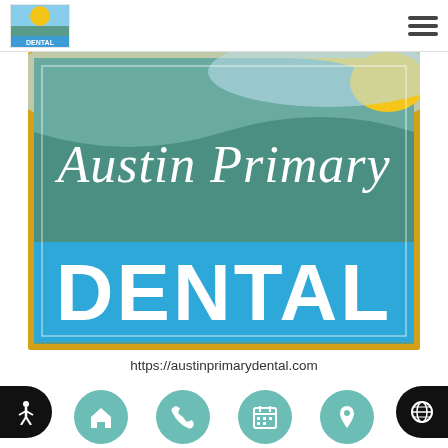[Figure (logo): Austin Primary Dental logo with hamburger menu icon in page header]
[Figure (logo): Austin Primary Dental large logo with teal background, script text 'Austin Primary' and bold white 'DENTAL', framed with gold/yellow border]
https://austinprimarydental.com
We Accept:
[Figure (screenshot): CareCredit banner in teal/green color]
[Figure (infographic): Bottom navigation bar with 4 teal circular icon buttons: home, phone, calendar, location pin. Accessibility icon on left edge, globe icon on right edge.]